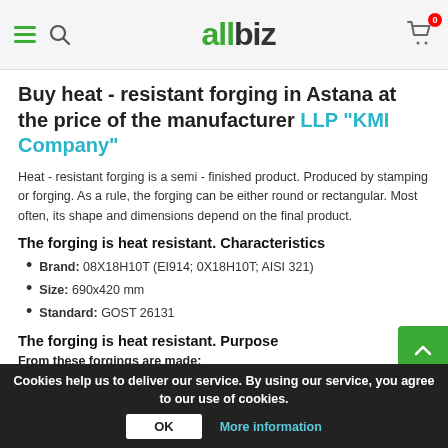allbiz navigation header with hamburger menu, search icon, logo, and cart
Buy heat - resistant forging in Astana at the price of the manufacturer LLP "KMI Company"
Heat - resistant forging is a semi - finished product. Produced by stamping or forging. As a rule, the forging can be either round or rectangular. Most often, its shape and dimensions depend on the final product.
The forging is heat resistant. Characteristics
Brand: 08X18H10T (EI914; 0X18H10T; AISI 321)
Size: 690x420 mm
Standard: GOST 26131
The forging is heat resistant. Purpose
From these forgings are made:
Cookies help us to deliver our service. By using our service, you agree to our use of cookies. OK More information